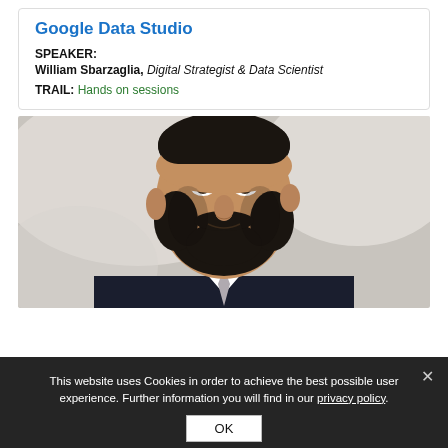Google Data Studio
SPEAKER: William Sbarzaglia, Digital Strategist & Data Scientist
TRAIL: Hands on sessions
[Figure (photo): Portrait photograph of William Sbarzaglia, a man with a dark beard wearing a dark suit and white shirt with tie, blurred light background]
This website uses Cookies in order to achieve the best possible user experience. Further information you will find in our privacy policy. OK